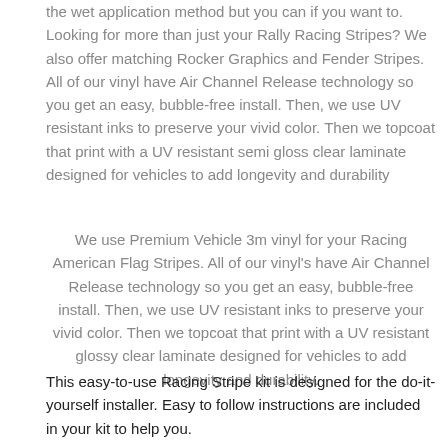the wet application method but you can if you want to. Looking for more than just your Rally Racing Stripes? We also offer matching Rocker Graphics and Fender Stripes.  All of our vinyl have Air Channel Release technology so you get an easy, bubble-free install. Then, we use UV resistant inks to preserve your vivid color. Then we topcoat that print with a UV resistant semi gloss clear laminate designed for vehicles to add longevity and durability
We use Premium Vehicle 3m vinyl for your Racing American Flag Stripes. All of our vinyl's have Air Channel Release technology so you get an easy, bubble-free install. Then, we use UV resistant inks to preserve your vivid color. Then we topcoat that print with a UV resistant glossy clear laminate designed for vehicles to add longevity and durability.
This easy-to-use Racing Stripe kit is designed for the do-it-yourself installer. Easy to follow instructions are included in your kit to help you.